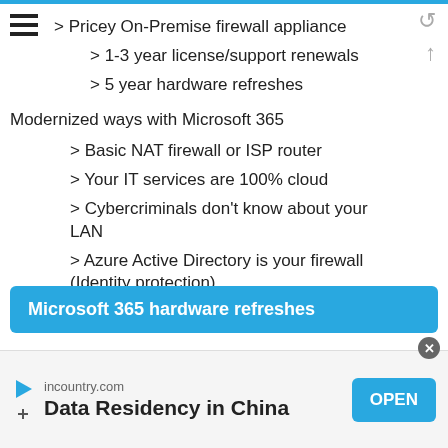> Pricey On-Premise firewall appliance
> 1-3 year license/support renewals
> 5 year hardware refreshes
Modernized ways with Microsoft 365
> Basic NAT firewall or ISP router
> Your IT services are 100% cloud
> Cybercriminals don't know about your LAN
> Azure Active Directory is your firewall (Identity protection)
Microsoft 365 hardware refreshes
Traditional ways:
incountry.com Data Residency in China OPEN